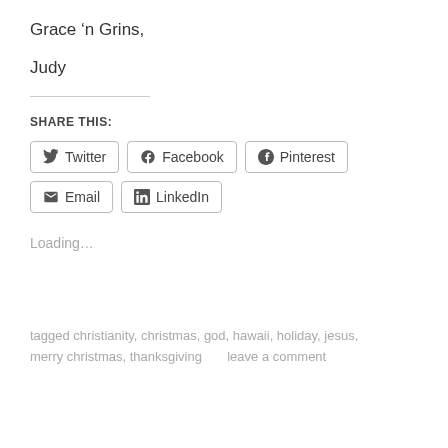Grace ‘n Grins,
Judy
SHARE THIS:
Twitter  Facebook  Pinterest  Email  LinkedIn
Loading…
tagged christianity, christmas, god, hawaii, holiday, jesus, merry christmas, thanksgiving      leave a comment